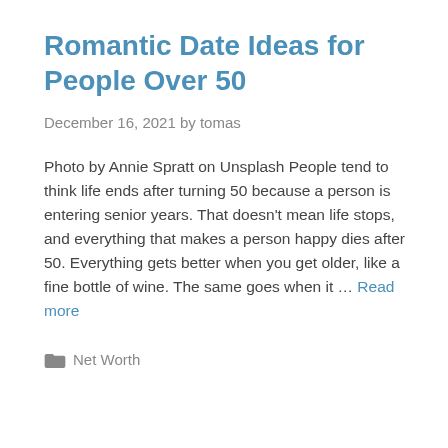Romantic Date Ideas for People Over 50
December 16, 2021 by tomas
Photo by Annie Spratt on Unsplash People tend to think life ends after turning 50 because a person is entering senior years. That doesn't mean life stops, and everything that makes a person happy dies after 50. Everything gets better when you get older, like a fine bottle of wine. The same goes when it … Read more
Net Worth